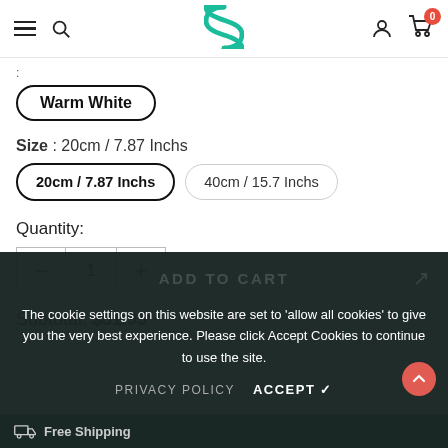Navigation header with menu, search, logo, account, and cart (0 items)
Warm White
Size : 20cm / 7.87 Inchs
20cm / 7.87 Inchs
40cm / 15.7 Inchs
Quantity:
1
Subtotal:  $31.95
The cookie settings on this website are set to 'allow all cookies' to give you the very best experience. Please click Accept Cookies to continue to use the site.
PRIVACY POLICY   ACCEPT ✓
Free Shipping